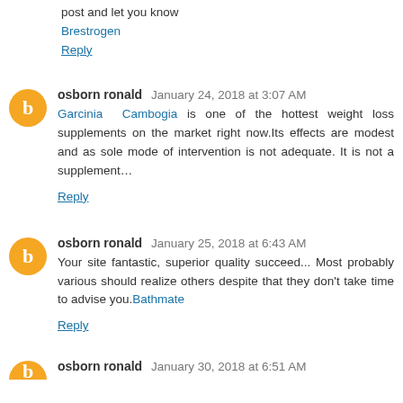post and let you know
Brestrogen
Reply
osborn ronald  January 24, 2018 at 3:07 AM
Garcinia Cambogia is one of the hottest weight loss supplements on the market right now.Its effects are modest and as sole mode of intervention is not adequate. It is not a supplement…
Reply
osborn ronald  January 25, 2018 at 6:43 AM
Your site fantastic, superior quality succeed... Most probably various should realize others despite that they don't take time to advise you.Bathmate
Reply
osborn ronald  January 30, 2018 at 6:51 AM